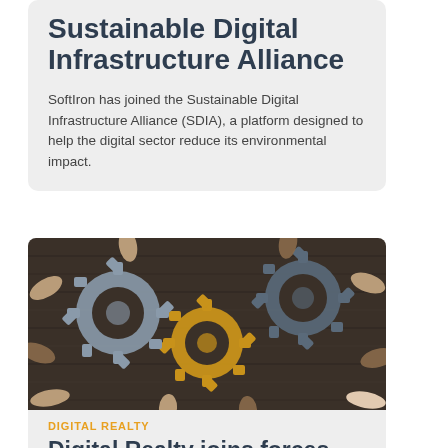Sustainable Digital Infrastructure Alliance
SoftIron has joined the Sustainable Digital Infrastructure Alliance (SDIA), a platform designed to help the digital sector reduce its environmental impact.
[Figure (photo): Multiple pairs of hands from different people holding and connecting interlocking gears (cogs) on a dark wooden surface — gray gears and one gold/yellow gear in the center, symbolizing teamwork and collaboration.]
DIGITAL REALTY
Digital Realty joins forces with